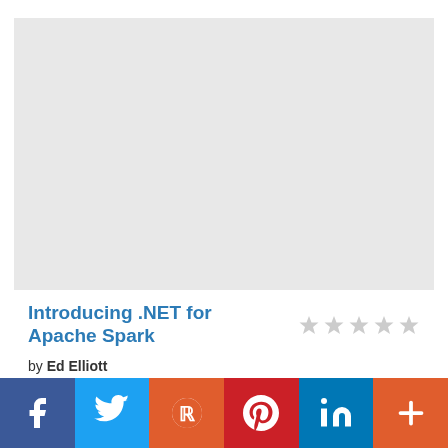[Figure (photo): Large light gray placeholder image area at the top of the page]
Introducing .NET for Apache Spark
by Ed Elliott
Get started using Apache Spark via C# or F# and the .NET for Apache Spark library. This book is an introduction to both...
[Figure (infographic): Social sharing bar with Facebook, Twitter, Reddit, Pinterest, LinkedIn, and More buttons]